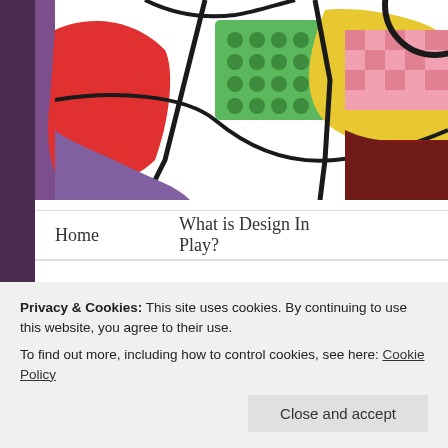[Figure (illustration): Colorful stained-glass style artwork showing figures/faces with bold black outlines and bright colors (red, green, yellow, pink, purple) with patterned fills.]
Home    What is Design In Play?
TAG ARCHIVES: MATH
[Figure (photo): A child's hand holding a card with dots on it, on a wooden table, next to another card with dots. Partially cropped by cookie banner.]
Privacy & Cookies: This site uses cookies. By continuing to use this website, you agree to their use.
To find out more, including how to control cookies, see here: Cookie Policy
Close and accept